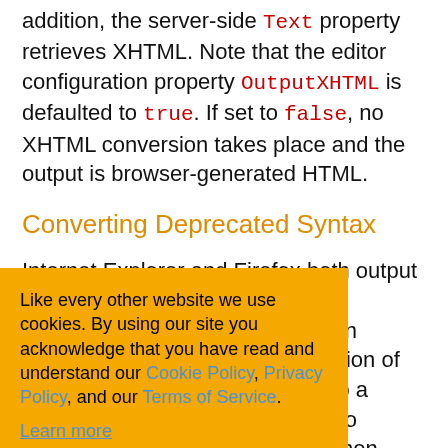addition, the server-side Text property retrieves XHTML. Note that the editor configuration property OutputXHTML is defaulted to true. If set to false, no XHTML conversion takes place and the output is browser-generated HTML.
Converting Deprecated Syntax
Internet Explorer and Firefox both output and "expect ... erating in ... ementation of ... ntax into a ... verting to ... yntax when ... L. Note that the ... aulted to true. If set to false, no conversion takes place and the
Like every other website we use cookies. By using our site you acknowledge that you have read and understand our Cookie Policy, Privacy Policy, and our Terms of Service. Learn more